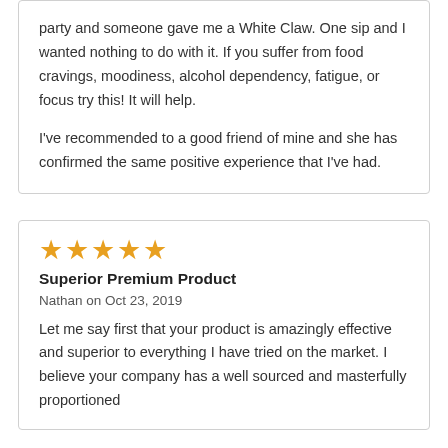party and someone gave me a White Claw. One sip and I wanted nothing to do with it. If you suffer from food cravings, moodiness, alcohol dependency, fatigue, or focus try this! It will help.

I've recommended to a good friend of mine and she has confirmed the same positive experience that I've had.
★★★★★
Superior Premium Product
Nathan on Oct 23, 2019
Let me say first that your product is amazingly effective and superior to everything I have tried on the market. I believe your company has a well sourced and masterfully proportioned